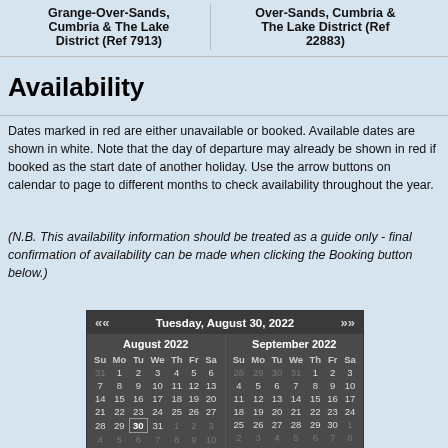|  |  |
| --- | --- |
| Grange-Over-Sands, Cumbria & The Lake District (Ref 7913) | Over-Sands, Cumbria & The Lake District (Ref 22883) |
Availability
Dates marked in red are either unavailable or booked. Available dates are shown in white. Note that the day of departure may already be shown in red if booked as the start date of another holiday. Use the arrow buttons on calendar to page to different months to check availability throughout the year.
(N.B. This availability information should be treated as a guide only - final confirmation of availability can be made when clicking the Booking button below.)
[Figure (other): Calendar widget showing August 2022 and September 2022, with header 'Tuesday, August 30, 2022'. Day 30 in August is highlighted. Out-of-month days shown in grey.]